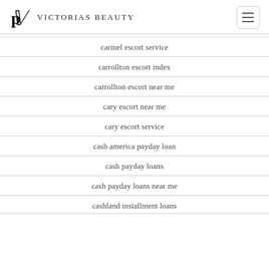Victorias Beauty
carmel escort service
carrollton escort index
carrollton escort near me
cary escort near me
cary escort service
cash america payday loan
cash payday loans
cash payday loans near me
cashland installment loans